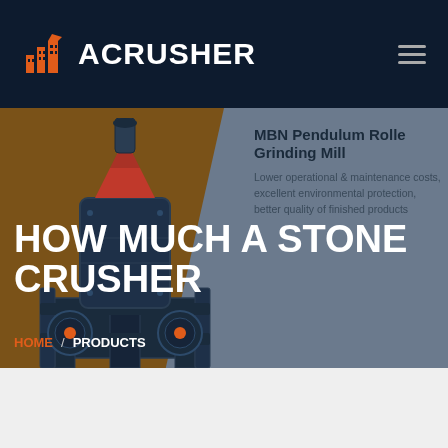ACRUSHER
HOW MUCH A STONE CRUSHER
MBN Pendulum Roller Grinding Mill
Lower operational & maintenance costs, excellent environmental protection, better quality of finished products
HOME / PRODUCTS
[Figure (illustration): Industrial stone crusher / grinding mill machine rendered in navy blue and red, on a brown background panel]
[Figure (logo): ACRUSHER logo with orange building/factory icon and white bold text on dark navy background]